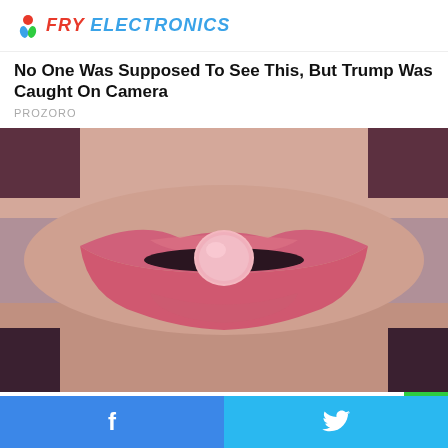FRY ELECTRONICS
No One Was Supposed To See This, But Trump Was Caught On Camera
PROZORO
[Figure (photo): Close-up photo of a woman's lips with a pink pill/tablet balanced between them]
Over-The-Counter Adderall Alternative, And It's Stronger!
Facebook share button | Twitter share button